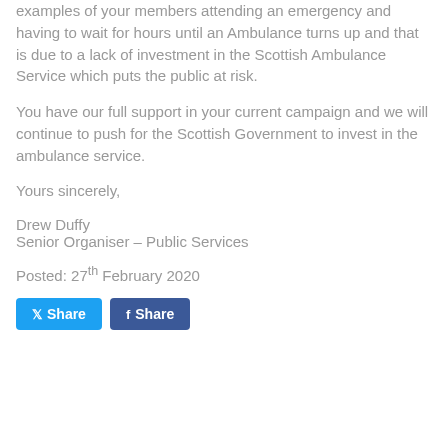examples of your members attending an emergency and having to wait for hours until an Ambulance turns up and that is due to a lack of investment in the Scottish Ambulance Service which puts the public at risk.
You have our full support in your current campaign and we will continue to push for the Scottish Government to invest in the ambulance service.
Yours sincerely,
Drew Duffy
Senior Organiser – Public Services
Posted: 27th February 2020
[Figure (other): Social share buttons: Twitter Share and Facebook Share]